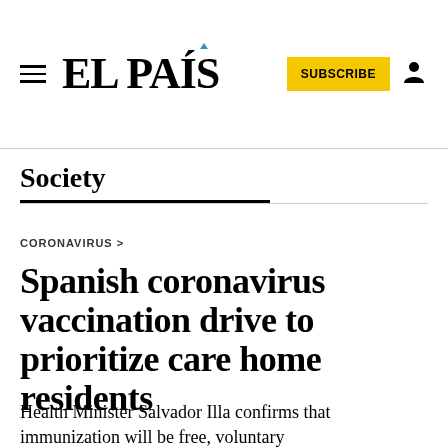EL PAÍS
Society
CORONAVIRUS >
Spanish coronavirus vaccination drive to prioritize care home residents
Health Minister Salvador Illa confirms that immunization will be free, voluntary